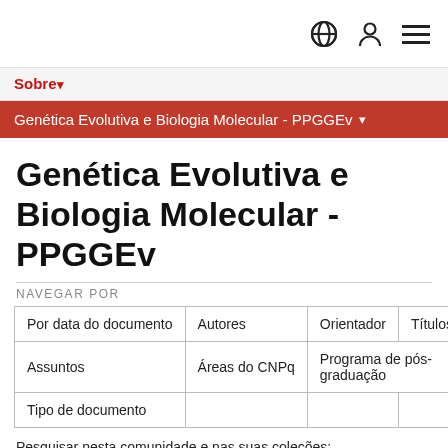[Navigation icons: globe, user, menu]
Sobre ▾
Genética Evolutiva e Biologia Molecular - PPGGEv ▾
Genética Evolutiva e Biologia Molecular - PPGGEv
NAVEGAR POR
| Por data do documento | Autores | Orientador | Títulos |
| Assuntos | Áreas do CNPq | Programa de pós-graduação |
| Tipo de documento |
Pesquisar nesta comunidade e nas suas coleções: